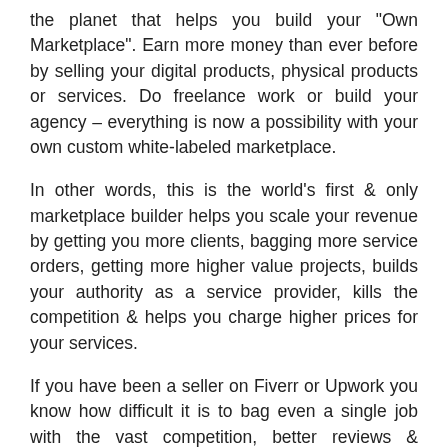the planet that helps you build your "Own Marketplace". Earn more money than ever before by selling your digital products, physical products or services. Do freelance work or build your agency – everything is now a possibility with your own custom white-labeled marketplace.
In other words, this is the world's first & only marketplace builder helps you scale your revenue by getting you more clients, bagging more service orders, getting more higher value projects, builds your authority as a service provider, kills the competition & helps you charge higher prices for your services.
If you have been a seller on Fiverr or Upwork you know how difficult it is to bag even a single job with the vast competition, better reviews & competitive pricing. There is always a high probability that the buyers will pick someone else over you!